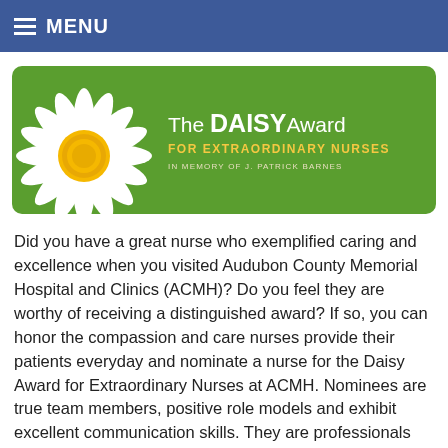MENU
[Figure (logo): The DAISY Award for Extraordinary Nurses banner with a daisy flower on green background. Text: 'The DAISY Award FOR EXTRAORDINARY NURSES IN MEMORY OF J. PATRICK BARNES']
Did you have a great nurse who exemplified caring and excellence when you visited Audubon County Memorial Hospital and Clinics (ACMH)? Do you feel they are worthy of receiving a distinguished award? If so, you can honor the compassion and care nurses provide their patients everyday and nominate a nurse for the Daisy Award for Extraordinary Nurses at ACMH. Nominees are true team members, positive role models and exhibit excellent communication skills. They are professionals who are consistently caring and compassionate.